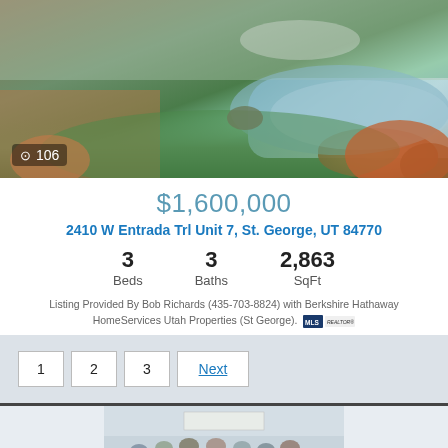[Figure (photo): Exterior property photo showing patio area, green lawn, a pond or water feature, and red rock formations in background, with photo count overlay showing camera icon and 106]
$1,600,000
2410 W Entrada Trl Unit 7, St. George, UT 84770
3 Beds   3 Baths   2,863 SqFt
Listing Provided By Bob Richards (435-703-8824) with Berkshire Hathaway HomeServices Utah Properties (St George).
1  2  3  Next
[Figure (photo): Team photo showing a group of real estate agents in a professional office or home interior setting]